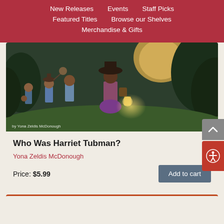New Releases | Events | Staff Picks | Featured Titles | Browse our Shelves | Merchandise & Gifts
[Figure (illustration): Book cover illustration for 'Who Was Harriet Tubman?' showing historical figures carrying lantern and belongings at night, with text 'by Yona Zeldis McDonough']
Who Was Harriet Tubman?
Yona Zeldis McDonough
Price: $5.99
Add to cart